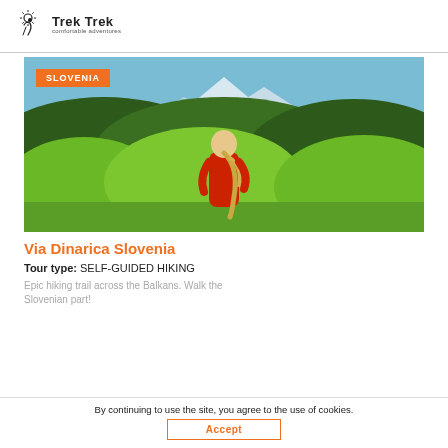Trek Trek - comfortable adventures
[Figure (photo): Woman in red top seen from behind, facing green forested mountains and snowy peaks, Slovenia landscape. Orange badge reading SLOVENIA in top left corner.]
Via Dinarica Slovenia
Tour type: SELF-GUIDED HIKING
Epic hiking trail across the Balkans. Walk the Slovenian part!
By continuing to use the site, you agree to the use of cookies.
Accept